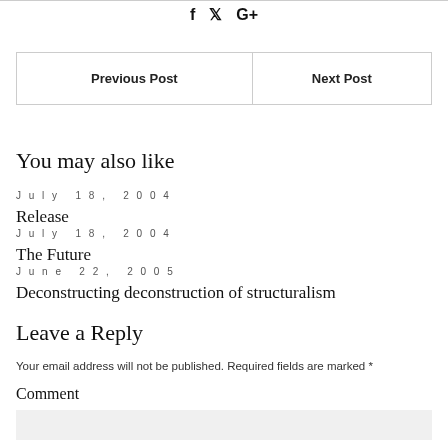[Figure (other): Social share icons: f (Facebook), Twitter bird, G+]
| Previous Post | Next Post |
| --- | --- |
You may also like
July 18, 2004
Release
July 18, 2004
The Future
June 22, 2005
Deconstructing deconstruction of structuralism
Leave a Reply
Your email address will not be published. Required fields are marked *
Comment